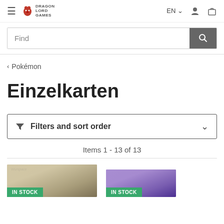Dragonlord Games — EN — user — cart
Find
< Pokémon
Einzelkarten
Filters and sort order
Items 1 - 13 of 13
[Figure (screenshot): Two product cards partially visible at the bottom. Both show 'IN STOCK' green badges. Left card shows a tan/beige card game card image. Right card shows a purple card game card image.]